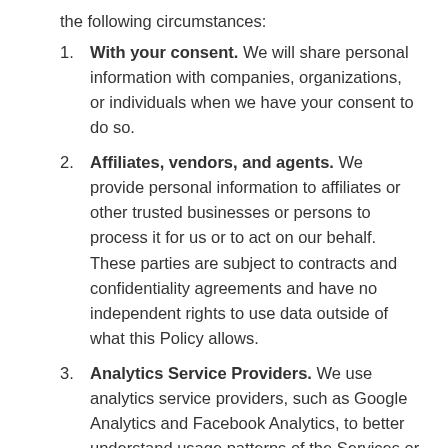the following circumstances:
With your consent. We will share personal information with companies, organizations, or individuals when we have your consent to do so.
Affiliates, vendors, and agents. We provide personal information to affiliates or other trusted businesses or persons to process it for us or to act on our behalf. These parties are subject to contracts and confidentiality agreements and have no independent rights to use data outside of what this Policy allows.
Analytics Service Providers. We use analytics service providers, such as Google Analytics and Facebook Analytics, to better understand usage patterns of the Services or our Sites. These providers collect information on our behalf using cookies and similar technologies. We use the